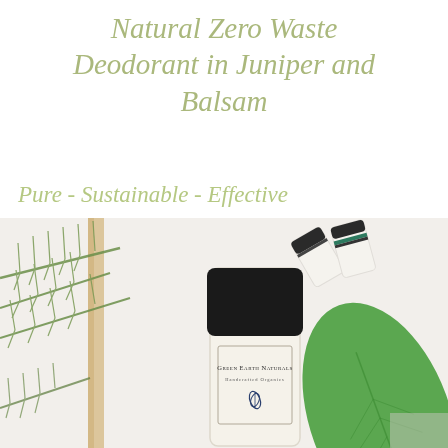Natural Zero Waste Deodorant in Juniper and Balsam
Pure - Sustainable - Effective
[Figure (photo): Product photo showing a natural deodorant stick with black cap and cream-colored body labeled 'Green Earth Naturals Handcrafted Organics', surrounded by pine needles on the left, a green leaf on the bottom right, and small deodorant containers in the background.]